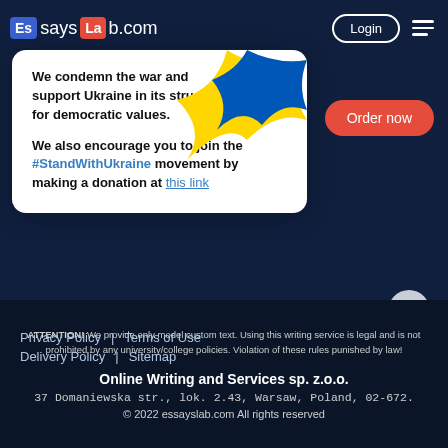EssaysLab.com — Login — Menu
[Figure (screenshot): Modal popup with Ukraine support message, flag ribbon decoration, and close button. Text: 'We condemn the war and support Ukraine in its struggle for democratic values. We also encourage you to join the #StandWithUkraine movement by making a donation at this link']
Order now
Privacy Policy | Terms of Use
Delivery Policy | Sitemap
ATTENTION! We provide only model custom text. Using this writing service is legal and is not prohibited by any university/college policies. Violation of these rules punished by law!
Online Writing and Services sp. z.o.o.
37 Domaniewska str., lok. 2.43, Warsaw, Poland, 02-672.
© 2022 essayslab.com All rights reserved